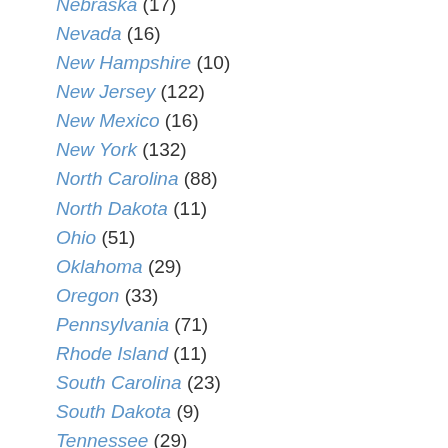Nebraska (17)
Nevada (16)
New Hampshire (10)
New Jersey (122)
New Mexico (16)
New York (132)
North Carolina (88)
North Dakota (11)
Ohio (51)
Oklahoma (29)
Oregon (33)
Pennsylvania (71)
Rhode Island (11)
South Carolina (23)
South Dakota (9)
Tennessee (29)
Texas (125)
Uncategorized (2)
Utah (37)
Vermont (3)
Virginia (40)
Washington (82)